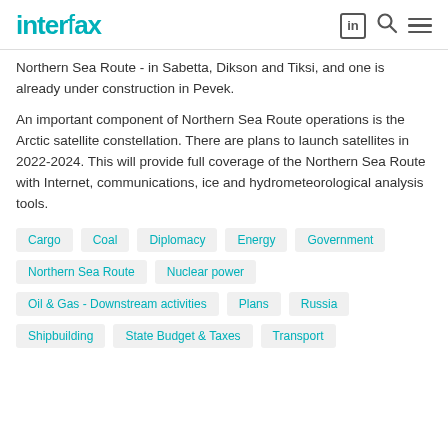Interfax
Northern Sea Route - in Sabetta, Dikson and Tiksi, and one is already under construction in Pevek.
An important component of Northern Sea Route operations is the Arctic satellite constellation. There are plans to launch satellites in 2022-2024. This will provide full coverage of the Northern Sea Route with Internet, communications, ice and hydrometeorological analysis tools.
Cargo
Coal
Diplomacy
Energy
Government
Northern Sea Route
Nuclear power
Oil & Gas - Downstream activities
Plans
Russia
Shipbuilding
State Budget & Taxes
Transport